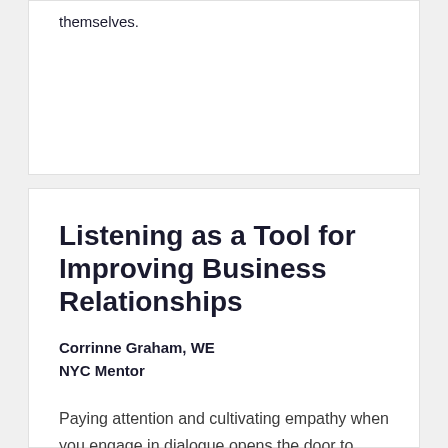themselves.
Listening as a Tool for Improving Business Relationships
Corrinne Graham,  WE NYC Mentor
Paying attention and cultivating empathy when you engage in dialogue opens the door to creative solutions for customers.